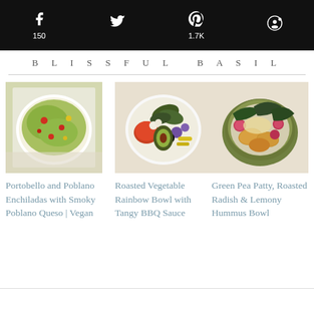f 150  [twitter icon]  p 1.7K  [reddit icon]
BLISSFUL BASIL
[Figure (photo): Overhead photo of Portobello and Poblano Enchiladas dish with green sauce and red peppers]
Portobello and Poblano Enchiladas with Smoky Poblano Queso | Vegan
[Figure (photo): Roasted vegetable rainbow bowl with colorful vegetables, avocado, and tangy BBQ sauce in a white bowl]
Roasted Vegetable Rainbow Bowl with Tangy BBQ Sauce
[Figure (photo): Green pea patties with roasted radishes and lemony hummus in a green bowl]
Green Pea Patty, Roasted Radish & Lemony Hummus Bowl